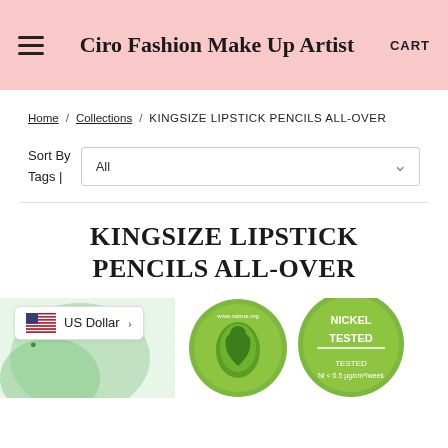Ciro Fashion Make Up Artist — CART
Home / Collections / KINGSIZE LIPSTICK PENCILS ALL-OVER
Sort By Tags | All
KINGSIZE LIPSTICK PENCILS ALL-OVER
[Figure (screenshot): Product page showing green certification badges (natural cosmetics, Nickel Tested) and a partial product image, plus a US Dollar currency selector widget.]